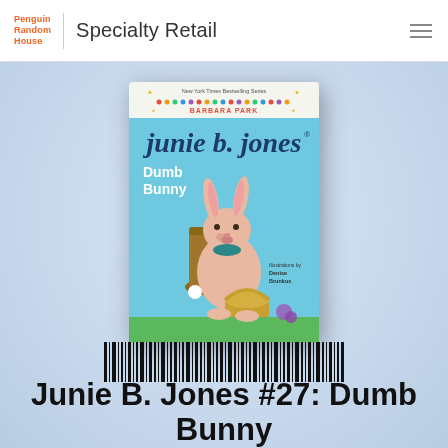Penguin Random House | Specialty Retail
[Figure (illustration): Book cover of Junie B. Jones #27: Dumb Bunny by Barbara Park. Light blue background with a cartoon bunny character sitting on a stump looking dejected, holding an Easter basket. Text reads: New York Times Bestselling Series, Barbara Park, junie b. jones, Dumb Bunny. Illustrated by Denise Brunkus.]
[Figure (other): Barcode (UPC/EAN barcode)]
Junie B. Jones #27: Dumb Bunny